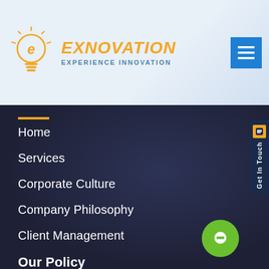[Figure (logo): Exnovation logo: orange lightbulb with letter E, brand name EXNOVATION in orange italic bold, tagline EXPERIENCE INNOVATION in blue]
Home
Services
Corporate Culture
Company Philosophy
Client Management
Our Policy
About Us
Pricing
Faq's